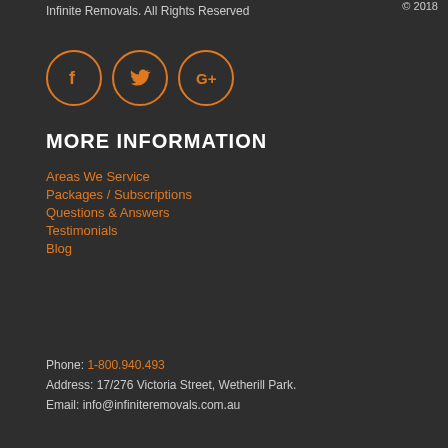© 2018
Infinite Removals. All Rights Reserved
[Figure (illustration): Three social media icons in orange circles: Facebook (f), Twitter (bird), Google+ (G+)]
MORE INFORMATION
Areas We Service
Packages / Subscriptions
Questions & Answers
Testimonials
Blog
Phone: 1-800.940.493
Address: 17/276 Victoria Street, Wetherill Park.
Email: info@infiniteremovals.com.au